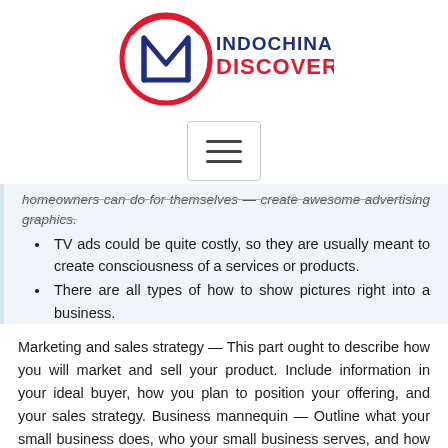[Figure (logo): Indochina Discovery logo with red circle, blue letter M, and text INDOCHINA DISCOVERY in blue and red]
[Figure (screenshot): Hamburger menu button (three horizontal lines) inside a rounded rectangle border]
homeowners can do for themselves — create awesome advertising graphics.
TV ads could be quite costly, so they are usually meant to create consciousness of a services or products.
There are all types of how to show pictures right into a business.
Marketing and sales strategy — This part ought to describe how you will market and sell your product. Include information in your ideal buyer, how you plan to position your offering, and your sales strategy. Business mannequin — Outline what your small business does, who your small business serves, and how your business is structured. You ought to embrace an outline of what products and services you provide, and how